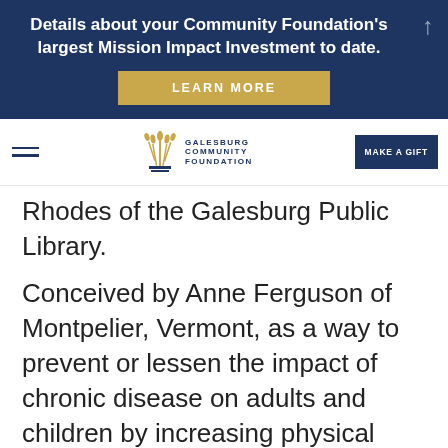Details about your Community Foundation's largest Mission Impact Investment to date.
[Figure (screenshot): LEARN MORE button in gold/tan color]
[Figure (logo): Galesburg Community Foundation logo with stylized grain/wheat symbol]
Rhodes of the Galesburg Public Library.
Conceived by Anne Ferguson of Montpelier, Vermont, as a way to prevent or lessen the impact of chronic disease on adults and children by increasing physical activity, the inspiration to build a local Storywalk was pitched by Melinda Jones-Rhodes of the Galesburg Public Library.